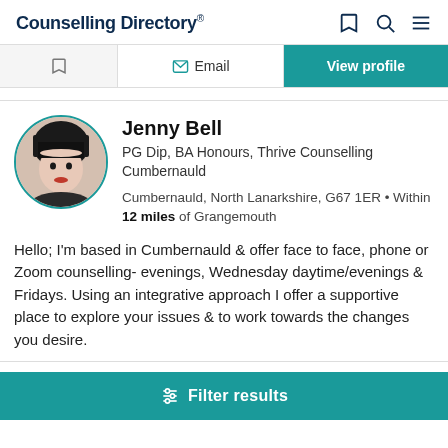Counselling Directory
[Figure (screenshot): Partially visible action bar with bookmark icon, Email button, and teal View profile button]
[Figure (photo): Circular profile photo of Jenny Bell, a woman with dark hair and red lipstick, bordered in teal]
Jenny Bell
PG Dip, BA Honours, Thrive Counselling Cumbernauld
Cumbernauld, North Lanarkshire, G67 1ER • Within 12 miles of Grangemouth
Hello; I'm based in Cumbernauld & offer face to face, phone or Zoom counselling- evenings, Wednesday daytime/evenings & Fridays. Using an integrative approach I offer a supportive place to explore your issues & to work towards the changes you desire.
Filter results